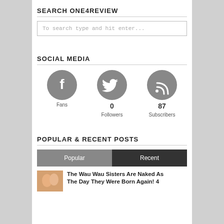SEARCH ONE4REVIEW
To search type and hit enter...
SOCIAL MEDIA
[Figure (infographic): Three gray circular social media icons: Facebook (Fans), Twitter (0 Followers), RSS (87 Subscribers)]
POPULAR & RECENT POSTS
Popular | Recent (tabs)
The Wau Wau Sisters Are Naked As The Day They Were Born Again! 4